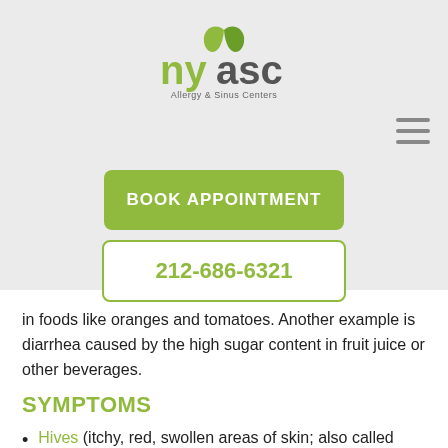[Figure (logo): NYASC Allergy & Sinus Centers logo — green stylized leaf above 'nyasc' text with 'Allergy & Sinus Centers' tagline]
[Figure (other): Hamburger menu icon (three horizontal bars)]
[Figure (other): Green button labeled BOOK APPOINTMENT]
[Figure (other): White outlined button showing phone number 212-686-6321 in green]
in foods like oranges and tomatoes. Another example is diarrhea caused by the high sugar content in fruit juice or other beverages.
SYMPTOMS
Hives (itchy, red, swollen areas of skin; also called urticaria)
Swelling and itching in the throat and mouth